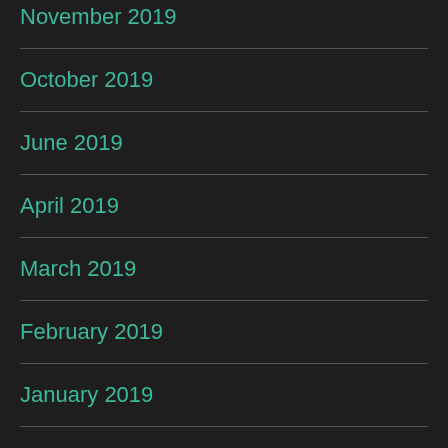November 2019
October 2019
June 2019
April 2019
March 2019
February 2019
January 2019
December 2018